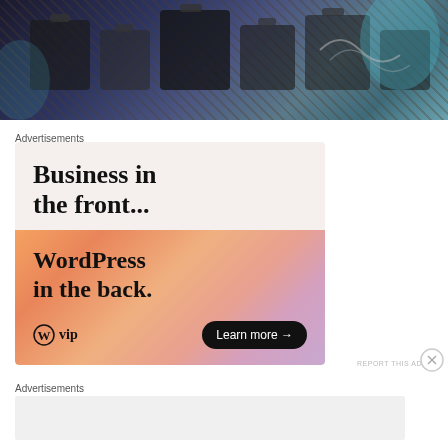[Figure (photo): Top portion of a photo showing people and luggage with blurred background in dark blue/teal tones]
Advertisements
[Figure (illustration): WordPress VIP advertisement banner. Top half on light gray background reads 'Business in the front...' in large serif bold text. Bottom half has orange-to-pink gradient background with 'WordPress in the back.' in large serif bold text, WordPress VIP logo on the left, and a 'Learn more →' button in black pill shape on the right.]
REPORT THIS AD
Advertisements
REPORT THIS AD